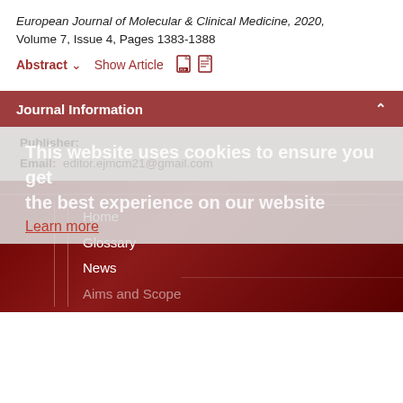European Journal of Molecular & Clinical Medicine, 2020, Volume 7, Issue 4, Pages 1383-1388
Abstract ▾   Show Article  [PDF icons]
Journal Information
Publisher:
Email:  editor.ejmcm21@gmail.com
This website uses cookies to ensure you get the best experience on our website
Learn more
Home  Glossary  News  Aims and Scope